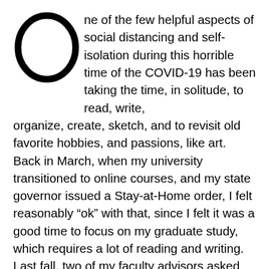One of the few helpful aspects of social distancing and self-isolation during this horrible time of the COVID-19 has been taking the time, in solitude, to read, write, organize, create, sketch, and to revisit old favorite hobbies, and passions, like art. Back in March, when my university transitioned to online courses, and my state governor issued a Stay-at-Home order, I felt reasonably “ok” with that, since I felt it was a good time to focus on my graduate study, which requires a lot of reading and writing. Last fall, two of my faculty advisors asked me a difficult philosophical question about why researching the topics I’d proposed was important to me–personally--and my answers then seemed flaky, e.g. “I am Lady of the Lake!” So, I have been thinking about how to answer those questions. It seems like I should be prepared to answer